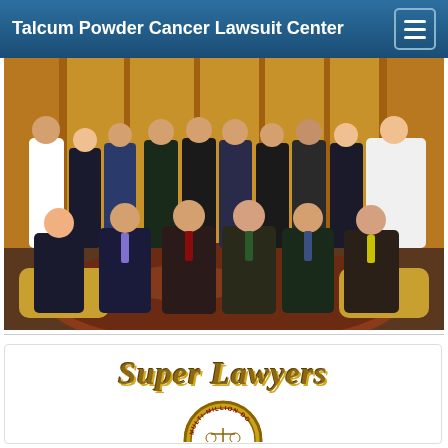Talcum Powder Cancer Lawsuit Center
[Figure (photo): Group photo of lawyers and staff seated and standing around a large round mahogany conference table in a formal office setting with red and gold furnishings]
[Figure (logo): Super Lawyers logo in gold serif italic text, with a partially visible Multi-Million Dollar Advocates Forum badge circle below]
Super Lawyers